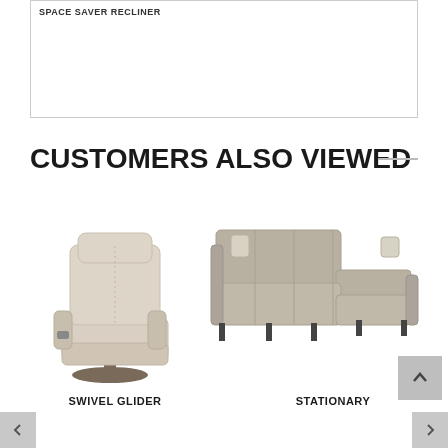SPACE SAVER RECLINER
CUSTOMERS ALSO VIEWED
[Figure (photo): Swivel glider recliner chair in beige/cream upholstery with power recline button]
SWIVEL GLIDER
[Figure (photo): Stationary sectional sofa in grey/tan upholstery with black legs and decorative pillows]
STATIONARY